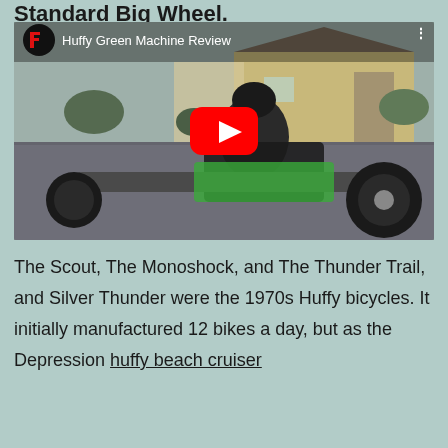Standard Big Wheel.
[Figure (screenshot): YouTube video thumbnail showing a child riding a Huffy Green Machine tricycle on a residential street. Video title reads 'Huffy Green Machine Review'. YouTube play button overlay visible in center. YouTube logo (red F logo) in top left corner.]
The Scout, The Monoshock, and The Thunder Trail, and Silver Thunder were the 1970s Huffy bicycles. It initially manufactured 12 bikes a day, but as the Depression huffy beach cruiser